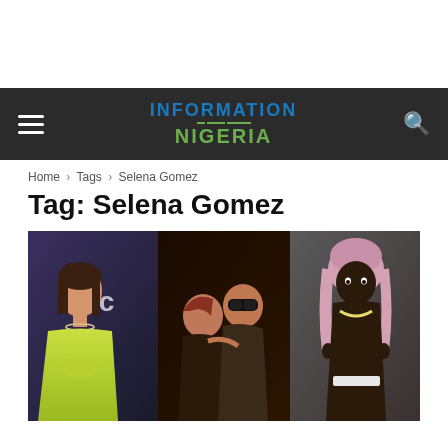INFORMATION NIGERIA
Home › Tags › Selena Gomez
Tag: Selena Gomez
[Figure (photo): Three-panel photo collage: left panel shows Selena Gomez in a lime green dress at an ABC event; middle panel shows two people kissing, one wearing sunglasses; right panel shows a shirtless man wearing a pink head covering and bead necklace.]